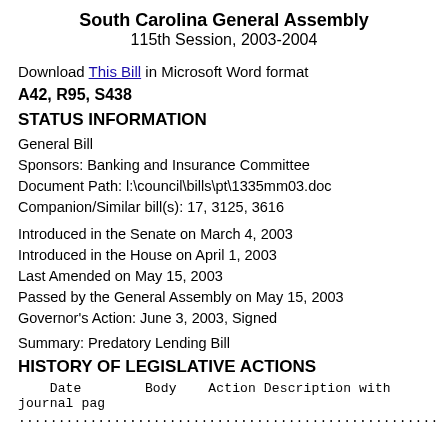South Carolina General Assembly
115th Session, 2003-2004
Download This Bill in Microsoft Word format
A42, R95, S438
STATUS INFORMATION
General Bill
Sponsors: Banking and Insurance Committee
Document Path: l:\council\bills\pt\1335mm03.doc
Companion/Similar bill(s): 17, 3125, 3616
Introduced in the Senate on March 4, 2003
Introduced in the House on April 1, 2003
Last Amended on May 15, 2003
Passed by the General Assembly on May 15, 2003
Governor's Action: June 3, 2003, Signed
Summary: Predatory Lending Bill
HISTORY OF LEGISLATIVE ACTIONS
| Date | Body | Action Description with journal page |
| --- | --- | --- |